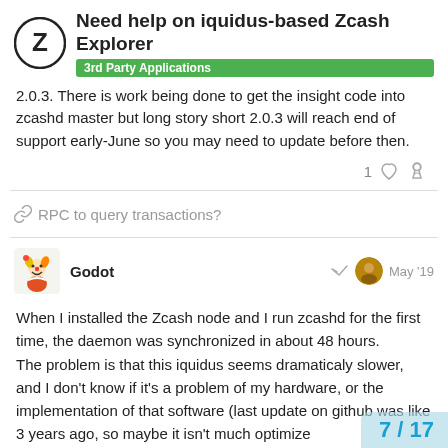Need help on iquidus-based Zcash Explorer — 3rd Party Applications
2.0.3. There is work being done to get the insight code into zcashd master but long story short 2.0.3 will reach end of support early-June so you may need to update before then.
RPC to query transactions?
Godot — May '19
When I installed the Zcash node and I run zcashd for the first time, the daemon was synchronized in about 48 hours. The problem is that this iquidus seems dramaticaly slower, and I don't know if it's a problem of my hardware, or the implementation of that software (last update on github was like 3 years ago, so maybe it isn't much optimize
7 / 17